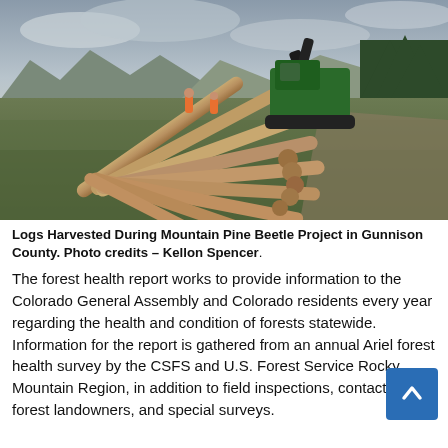[Figure (photo): Logs harvested during a Mountain Pine Beetle project in Gunnison County. A green excavator/harvester machine sits on a grassy hillside with numerous felled logs spread in a fan pattern in the foreground. Mountain ridgelines and evergreen trees are visible in the background under a cloudy sky. Two workers in orange vests are visible near the machine.]
Logs Harvested During Mountain Pine Beetle Project in Gunnison County. Photo credits – Kellon Spencer.
The forest health report works to provide information to the Colorado General Assembly and Colorado residents every year regarding the health and condition of forests statewide. Information for the report is gathered from an annual Ariel forest health survey by the CSFS and U.S. Forest Service Rocky Mountain Region, in addition to field inspections, contacts with forest landowners, and special surveys.